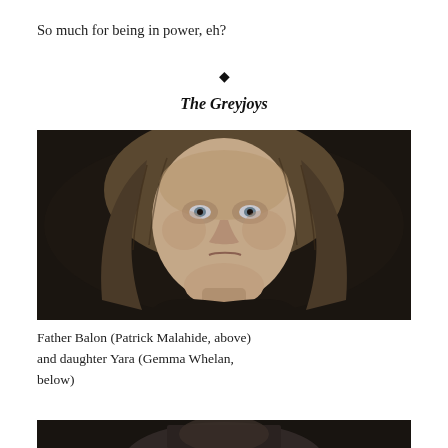So much for being in power, eh?
The Greyjoys
[Figure (photo): Portrait of Patrick Malahide as Balon Greyjoy — a middle-aged man with long, disheveled gray-brown hair, pale complexion, wearing dark clothing, photographed in dim lighting against a dark background.]
Father Balon (Patrick Malahide, above) and daughter Yara (Gemma Whelan, below)
[Figure (photo): Partial photo of Gemma Whelan as Yara Greyjoy — dark hair, partially visible at bottom of page.]